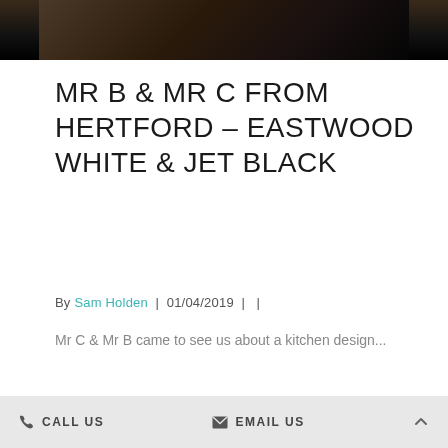[Figure (photo): Partial photo strip at top of page showing a dark kitchen or interior scene]
MR B & MR C FROM HERTFORD – EASTWOOD WHITE & JET BLACK
By Sam Holden | 01/04/2019 | |
Mr C & Mr B came to see us about a kitchen design...
READ MORE →
CALL US   EMAIL US